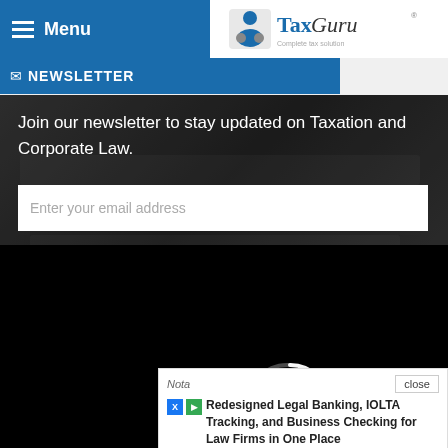Menu
[Figure (logo): TaxGuru logo - Complete tax solution]
NEWSLETTER
Join our newsletter to stay updated on Taxation and Corporate Law.
Enter your email address
[Figure (screenshot): Black modal overlay with loading spinner arc and close X button]
SEPTEMBER 2022
| M | T | W | T | F | S | S |
| --- | --- | --- | --- | --- | --- | --- |
Nota
Redesigned Legal Banking, IOLTA Tracking, and Business Checking for Law Firms in One Place
close